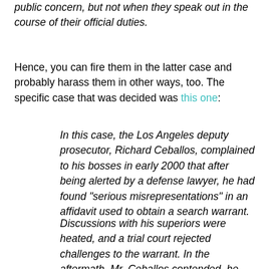public concern, but not when they speak out in the course of their official duties.
Hence, you can fire them in the latter case and probably harass them in other ways, too. The specific case that was decided was this one:
In this case, the Los Angeles deputy prosecutor, Richard Ceballos, complained to his bosses in early 2000 that after being alerted by a defense lawyer, he had found "serious misrepresentations" in an affidavit used to obtain a search warrant.
Discussions with his superiors were heated, and a trial court rejected challenges to the warrant. In the aftermath, Mr. Ceballos contended, he was reassigned and denied a promotion. He filed an employee grievance, which was denied based on a finding that he had not suffered any retaliation, despite his claim to the contrary.